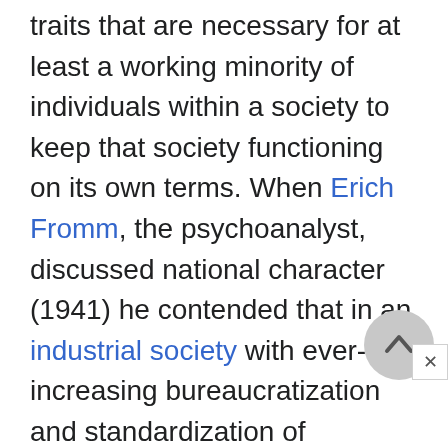traits that are necessary for at least a working minority of individuals within a society to keep that society functioning on its own terms. When Erich Fromm, the psychoanalyst, discussed national character (1941) he contended that in an industrial society with ever-increasing bureaucratization and standardization of occupations, the personality traits of discipline, orderliness, and punctuality are necessary. These traits have to be present in a significant portion of the